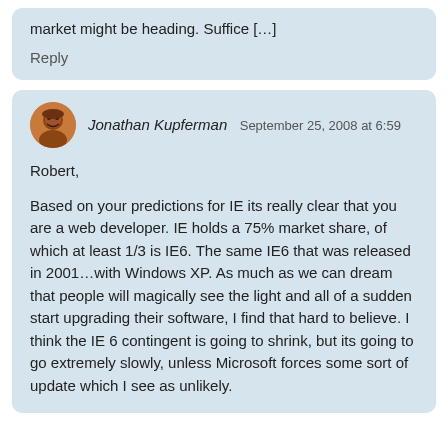market might be heading. Suffice […]
Reply
Jonathan Kupferman  September 25, 2008 at 6:59
Robert,

Based on your predictions for IE its really clear that you are a web developer. IE holds a 75% market share, of which at least 1/3 is IE6. The same IE6 that was released in 2001…with Windows XP. As much as we can dream that people will magically see the light and all of a sudden start upgrading their software, I find that hard to believe. I think the IE 6 contingent is going to shrink, but its going to go extremely slowly, unless Microsoft forces some sort of update which I see as unlikely.